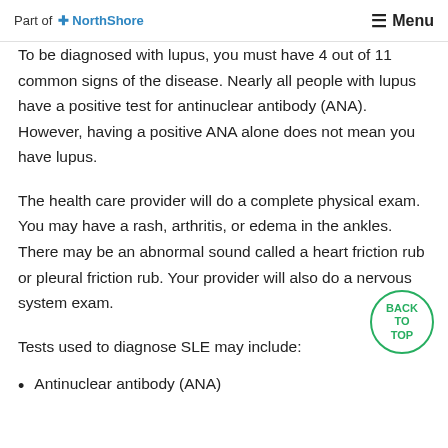Part of NorthShore | Menu
To be diagnosed with lupus, you must have 4 out of 11 common signs of the disease. Nearly all people with lupus have a positive test for antinuclear antibody (ANA). However, having a positive ANA alone does not mean you have lupus.
The health care provider will do a complete physical exam. You may have a rash, arthritis, or edema in the ankles. There may be an abnormal sound called a heart friction rub or pleural friction rub. Your provider will also do a nervous system exam.
Tests used to diagnose SLE may include:
Antinuclear antibody (ANA)